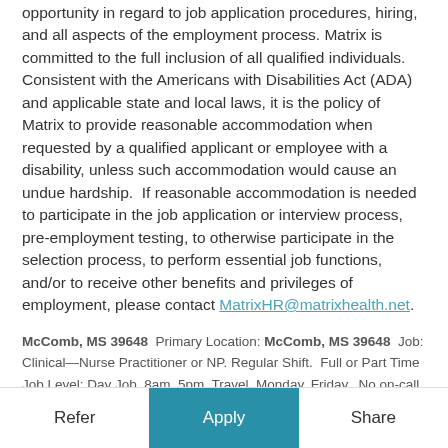opportunity in regard to job application procedures, hiring, and all aspects of the employment process. Matrix is committed to the full inclusion of all qualified individuals. Consistent with the Americans with Disabilities Act (ADA) and applicable state and local laws, it is the policy of Matrix to provide reasonable accommodation when requested by a qualified applicant or employee with a disability, unless such accommodation would cause an undue hardship.  If reasonable accommodation is needed to participate in the job application or interview process, pre-employment testing, to otherwise participate in the selection process, to perform essential job functions, and/or to receive other benefits and privileges of employment, please contact MatrixHR@matrixhealth.net.
McComb, MS 39648  Primary Location: McComb, MS 39648  Job: Clinical—Nurse Practitioner or NP. Regular Shift.  Full or Part Time Job Level: Day Job, 8am, 5pm, Travel, Monday, Friday.  No on-call, no evening, no weekend hours unless desired.  Job, Clinical, Nursing, Work from Home Opportunity, Regular, Job Type, Standard, Travel, Flexible, Pay, No Call, Hours.
Refer  Apply  Share